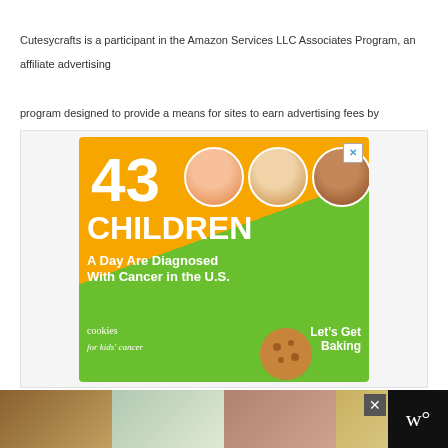Cutesycrafts is a participant in the Amazon Services LLC Associates Program, an affiliate advertising program designed to provide a means for sites to earn advertising fees by advertising and linking to amazon.com.
[Figure (illustration): Advertisement for 'cookies for kids cancer' charity. Green and orange background with text '43 CHILDREN A Day Are Diagnosed With Cancer in the U.S.' and three children's faces in circles. Cookies for kids' cancer logo and 'Let's Get Baking' text.]
[Figure (photo): Bottom banner advertisement showing multiple images of people cooking in kitchens with a close button and watermark logo.]